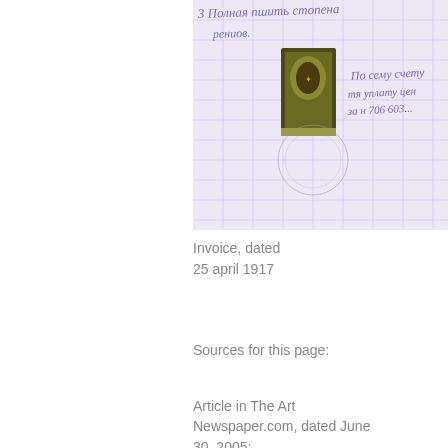[Figure (photo): Cropped photograph of a historical handwritten invoice document in Russian, dated 25 april 1917, showing cursive script and a postage stamp or wax seal in the center.]
Invoice, dated 25 april 1917
Sources for this page:
Article in The Art Newspaper.com, dated June 30, 2005: Have two new Imperial Fabergé eggs surfaced in Russia?